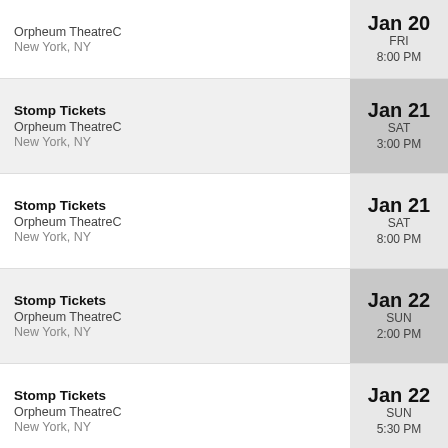Orpheum TheatreC, New York, NY — Jan 20, FRI, 8:00 PM
Stomp Tickets, Orpheum TheatreC, New York, NY — Jan 21, SAT, 3:00 PM
Stomp Tickets, Orpheum TheatreC, New York, NY — Jan 21, SAT, 8:00 PM
Stomp Tickets, Orpheum TheatreC, New York, NY — Jan 22, SUN, 2:00 PM
Stomp Tickets, Orpheum TheatreC, New York, NY — Jan 22, SUN, 5:30 PM
Stomp Tickets (partial)